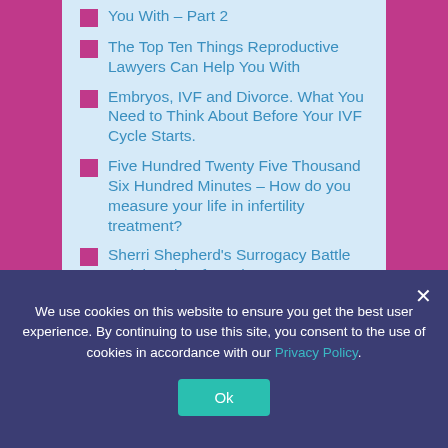You With – Part 2
The Top Ten Things Reproductive Lawyers Can Help You With
Embryos, IVF and Divorce. What You Need to Think About Before Your IVF Cycle Starts.
Five Hundred Twenty Five Thousand Six Hundred Minutes – How do you measure your life in infertility treatment?
Sherri Shepherd's Surrogacy Battle and the View from the
We use cookies on this website to ensure you get the best user experience. By continuing to use this site, you consent to the use of cookies in accordance with our Privacy Policy.